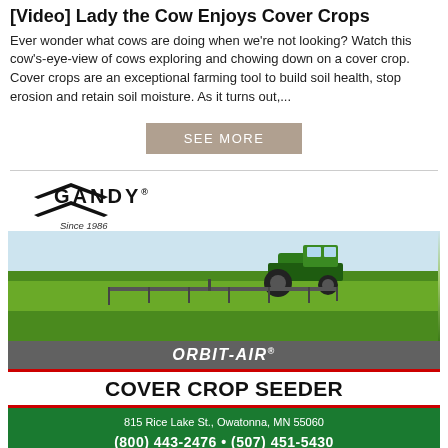[Video] Lady the Cow Enjoys Cover Crops
Ever wonder what cows are doing when we're not looking? Watch this cow's-eye-view of cows exploring and chowing down on a cover crop. Cover crops are an exceptional farming tool to build soil health, stop erosion and retain soil moisture. As it turns out,...
SEE MORE
[Figure (illustration): Gandy brand advertisement for Orbit-Air Cover Crop Seeder. Shows Gandy logo with chevron marks and 'Since 1986', a tractor working a green field, the product name ORBIT-AIR COVER CROP SEEDER, and contact details: 815 Rice Lake St., Owatonna, MN 55060, (800) 443-2476, (507) 451-5430, sales@gandy.net, Gandy.net]